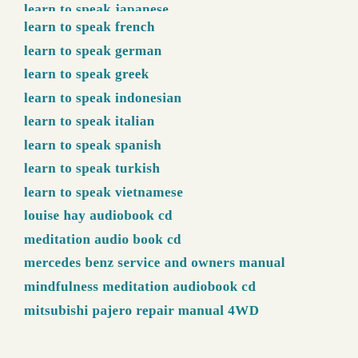learn to speak french
learn to speak german
learn to speak greek
learn to speak indonesian
learn to speak italian
learn to speak spanish
learn to speak turkish
learn to speak vietnamese
louise hay audiobook cd
meditation audio book cd
mercedes benz service and owners manual
mindfulness meditation audiobook cd
mitsubishi pajero repair manual 4WD